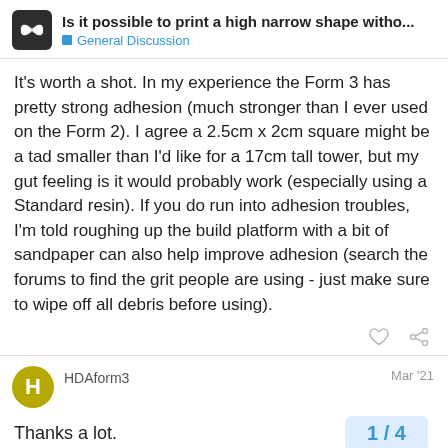Is it possible to print a high narrow shape witho... — General Discussion
It's worth a shot. In my experience the Form 3 has pretty strong adhesion (much stronger than I ever used on the Form 2). I agree a 2.5cm x 2cm square might be a tad smaller than I'd like for a 17cm tall tower, but my gut feeling is it would probably work (especially using a Standard resin). If you do run into adhesion troubles, I'm told roughing up the build platform with a bit of sandpaper can also help improve adhesion (search the forums to find the grit people are using - just make sure to wipe off all debris before using).
HDAform3
Mar '21
Thanks a lot.
1 / 4